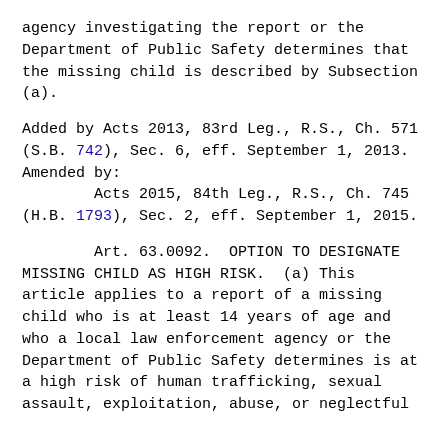agency investigating the report or the Department of Public Safety determines that the missing child is described by Subsection (a).
Added by Acts 2013, 83rd Leg., R.S., Ch. 571 (S.B. 742), Sec. 6, eff. September 1, 2013. Amended by:
        Acts 2015, 84th Leg., R.S., Ch. 745 (H.B. 1793), Sec. 2, eff. September 1, 2015.
Art. 63.0092.  OPTION TO DESIGNATE MISSING CHILD AS HIGH RISK.  (a) This article applies to a report of a missing child who is at least 14 years of age and who a local law enforcement agency or the Department of Public Safety determines is at a high risk of human trafficking, sexual assault, exploitation, abuse, or neglectful